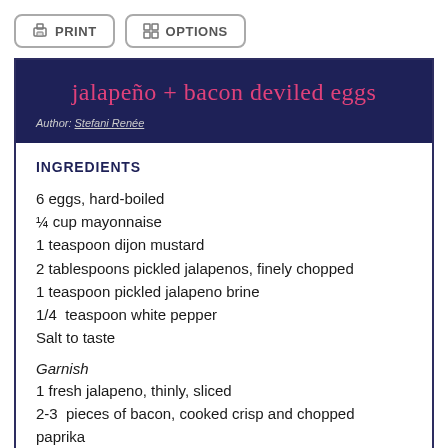PRINT  OPTIONS
jalapeño + bacon deviled eggs
Author: Stefani Renée
INGREDIENTS
6 eggs, hard-boiled
¼ cup mayonnaise
1 teaspoon dijon mustard
2 tablespoons pickled jalapenos, finely chopped
1 teaspoon pickled jalapeno brine
1/4  teaspoon white pepper
Salt to taste
Garnish
1 fresh jalapeno, thinly, sliced
2-3  pieces of bacon, cooked crisp and chopped
paprika